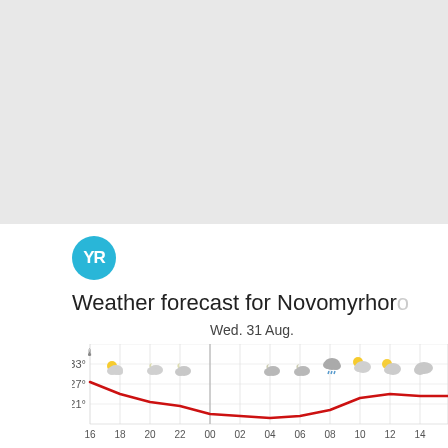[Figure (other): Gray background area (map or blank panel) occupying the top half of the page]
[Figure (logo): YR weather service logo - cyan circle with 'YR' text in white]
Weather forecast for Novomyrhoro
Wed. 31 Aug.
[Figure (line-chart): Temperature line chart with weather icons (partly cloudy, moon/cloud, rain) over hours 16-14 next day. Red temperature curve showing values around 27-33°C dropping to ~21°C then rising. Y-axis labels: 33°, 27°, 21°. X-axis hours: 16 18 20 22 00 02 04 06 08 10 12 14]